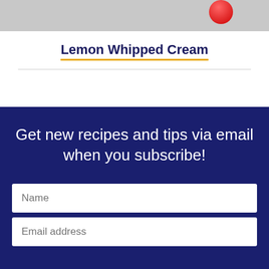[Figure (photo): Partial food photo, gray background with red element visible at top right corner]
Lemon Whipped Cream
Get new recipes and tips via email when you subscribe!